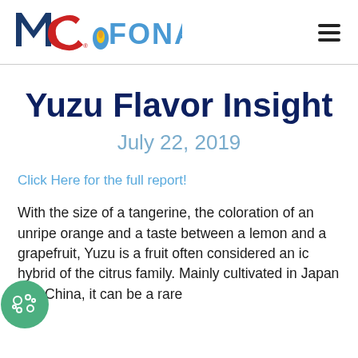MC FONA
Yuzu Flavor Insight
July 22, 2019
Click Here for the full report!
With the size of a tangerine, the coloration of an unripe orange and a taste between a lemon and a grapefruit, Yuzu is a fruit often considered an ic hybrid of the citrus family. Mainly cultivated in Japan and China, it can be a rare